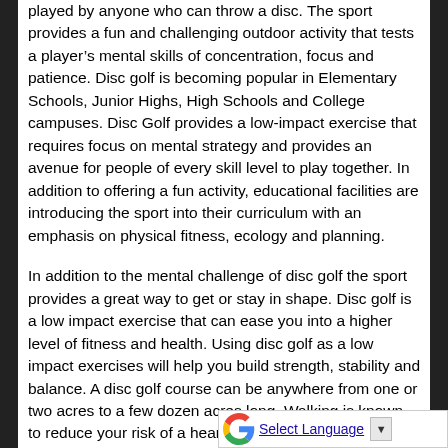played by anyone who can throw a disc. The sport provides a fun and challenging outdoor activity that tests a player's mental skills of concentration, focus and patience. Disc golf is becoming popular in Elementary Schools, Junior Highs, High Schools and College campuses. Disc Golf provides a low-impact exercise that requires focus on mental strategy and provides an avenue for people of every skill level to play together. In addition to offering a fun activity, educational facilities are introducing the sport into their curriculum with an emphasis on physical fitness, ecology and planning.
In addition to the mental challenge of disc golf the sport provides a great way to get or stay in shape. Disc golf is a low impact exercise that can ease you into a higher level of fitness and health. Using disc golf as a low impact exercises will help you build strength, stability and balance. A disc golf course can be anywhere from one or two acres to a few dozen acres long. Walking is known to reduce your risk of a heart attack by